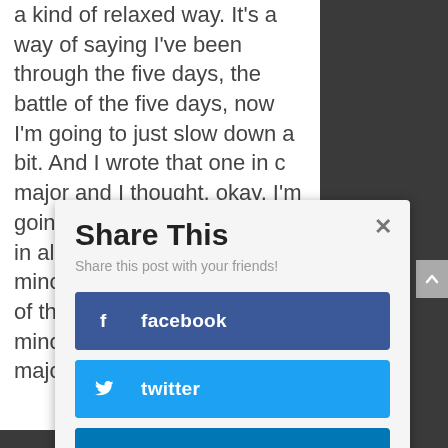a kind of relaxed way. It's a way of saying I've been through the five days, the battle of the five days, now I'm going to just slow down a bit. And I wrote that one in c major and I thought, okay, I'm going to write a cycle of these in all the keys, the major in minor, so there would be 24 of them in all: c major, a minor, g major e minor, d major B minor and so on.
Share This
Share this post with your friends!
[Figure (screenshot): Social sharing modal with facebook, twitter, and LinkedIn buttons]